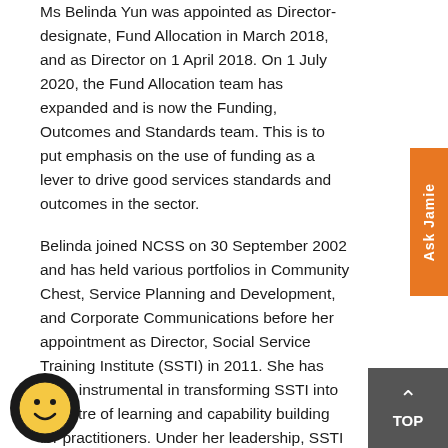Ms Belinda Yun was appointed as Director-designate, Fund Allocation in March 2018, and as Director on 1 April 2018. On 1 July 2020, the Fund Allocation team has expanded and is now the Funding, Outcomes and Standards team. This is to put emphasis on the use of funding as a lever to drive good services standards and outcomes in the sector.
Belinda joined NCSS on 30 September 2002 and has held various portfolios in Community Chest, Service Planning and Development, and Corporate Communications before her appointment as Director, Social Service Training Institute (SSTI) in 2011. She has been instrumental in transforming SSTI into a centre of learning and capability building for practitioners. Under her leadership, SSTI has been appointed the Continuing Education and Training Centre for the social service sector by the Workforce Development Agency. SSTI was re-branded as the Social Service Institute in 2013 as a one-stop social service learning hub. Belinda joined the Sun Ray scheme in July 2015 and was posted to Montfort Care as Director, Shared Services and General Manager of